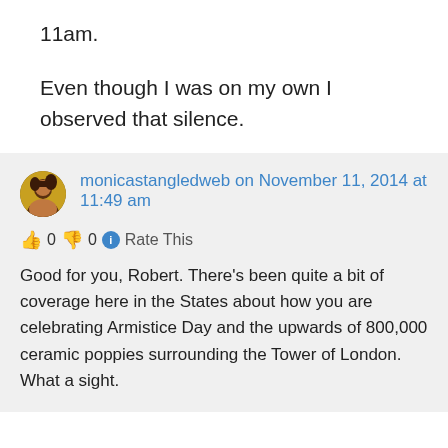11am.
Even though I was on my own I observed that silence.
monicastangledweb on November 11, 2014 at 11:49 am
👍 0 👎 0 ℹ Rate This
Good for you, Robert. There's been quite a bit of coverage here in the States about how you are celebrating Armistice Day and the upwards of 800,000 ceramic poppies surrounding the Tower of London. What a sight.